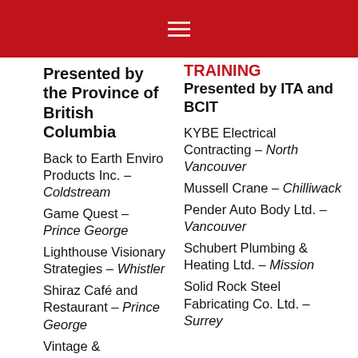Presented by the Province of British Columbia
Back to Earth Enviro Products Inc. – Coldstream
Game Quest – Prince George
Lighthouse Visionary Strategies – Whistler
Shiraz Café and Restaurant – Prince George
Vintage & Restoration Love – Dawson Creek
TRAINING
Presented by ITA and BCIT
KYBE Electrical Contracting – North Vancouver
Mussell Crane – Chilliwack
Pender Auto Body Ltd. – Vancouver
Schubert Plumbing & Heating Ltd. – Mission
Solid Rock Steel Fabricating Co. Ltd. – Surrey